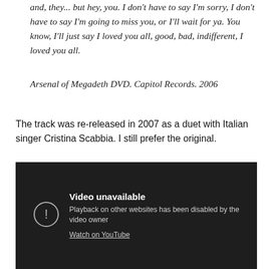and, they... but hey, you. I don't have to say I'm sorry, I don't have to say I'm going to miss you, or I'll wait for ya. You know, I'll just say I loved you all, good, bad, indifferent, I loved you all.
Arsenal of Megadeth DVD. Capitol Records. 2006
The track was re-released in 2007 as a duet with Italian singer Cristina Scabbia. I still prefer the original.
[Figure (screenshot): Embedded YouTube video player showing 'Video unavailable' message. Text reads: 'Playback on other websites has been disabled by the video owner' with a 'Watch on YouTube' link. Dark background with exclamation icon.]